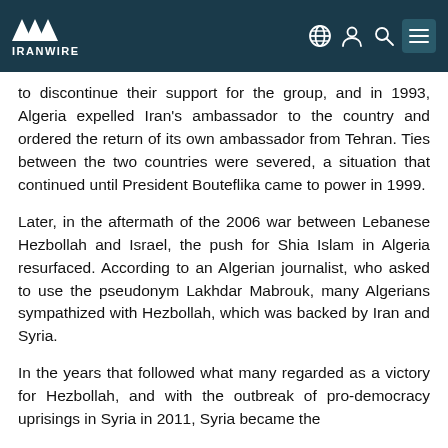IRANWIRE
to discontinue their support for the group, and in 1993, Algeria expelled Iran's ambassador to the country and ordered the return of its own ambassador from Tehran. Ties between the two countries were severed, a situation that continued until President Bouteflika came to power in 1999.
Later, in the aftermath of the 2006 war between Lebanese Hezbollah and Israel, the push for Shia Islam in Algeria resurfaced. According to an Algerian journalist, who asked to use the pseudonym Lakhdar Mabrouk, many Algerians sympathized with Hezbollah, which was backed by Iran and Syria.
In the years that followed what many regarded as a victory for Hezbollah, and with the outbreak of pro-democracy uprisings in Syria in 2011, Syria became the